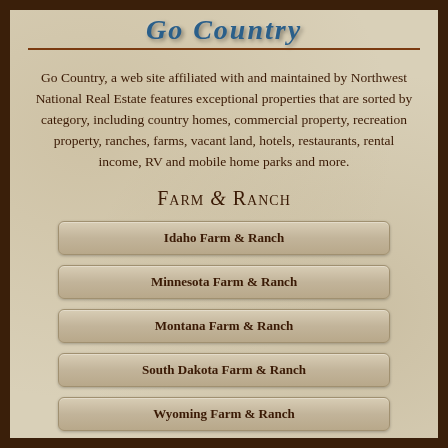Go Country
Go Country, a web site affiliated with and maintained by Northwest National Real Estate features exceptional properties that are sorted by category, including country homes, commercial property, recreation property, ranches, farms, vacant land, hotels, restaurants, rental income, RV and mobile home parks and more.
Farm & Ranch
Idaho Farm & Ranch
Minnesota Farm & Ranch
Montana Farm & Ranch
South Dakota Farm & Ranch
Wyoming Farm & Ranch
Horse Property
Horse Property